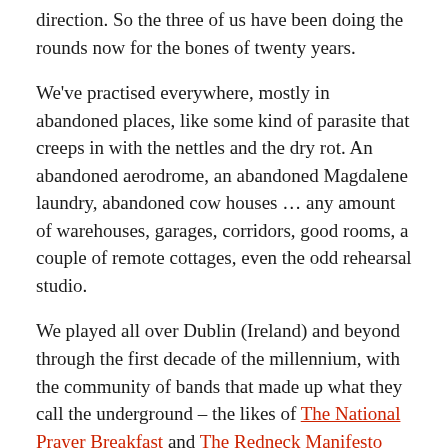direction. So the three of us have been doing the rounds now for the bones of twenty years.
We've practised everywhere, mostly in abandoned places, like some kind of parasite that creeps in with the nettles and the dry rot. An abandoned aerodrome, an abandoned Magdalene laundry, abandoned cow houses … any amount of warehouses, garages, corridors, good rooms, a couple of remote cottages, even the odd rehearsal studio.
We played all over Dublin (Ireland) and beyond through the first decade of the millennium, with the community of bands that made up what they call the underground – the likes of The National Prayer Breakfast and The Redneck Manifesto and Mumblin Deaf Ro, plus the odd touring act like Calexico and Explosions in the Sky (when the latter were playing grimy punk venues rather than huge festival stages). We recorded various singles and EPs (one with a singleone